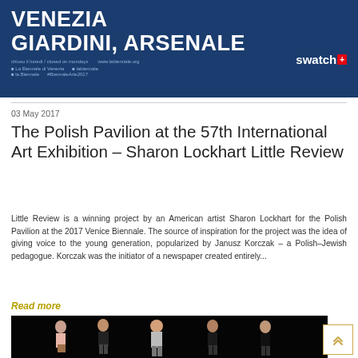[Figure (other): Venice Biennale banner: dark blue background with white bold text 'VENEZIA GIARDINI, ARSENALE', social media icons, Swatch logo sponsor]
03 May 2017
The Polish Pavilion at the 57th International Art Exhibition – Sharon Lockhart Little Review
Little Review is a winning project by an American artist Sharon Lockhart for the Polish Pavilion at the 2017 Venice Biennale. The source of inspiration for the project was the idea of giving voice to the young generation, popularized by Janusz Korczak – a Polish–Jewish pedagogue. Korczak was the initiator of a newspaper created entirely...
Read more
[Figure (photo): Dark background photo showing five young people (teenagers) posing in various stances against a black backdrop]